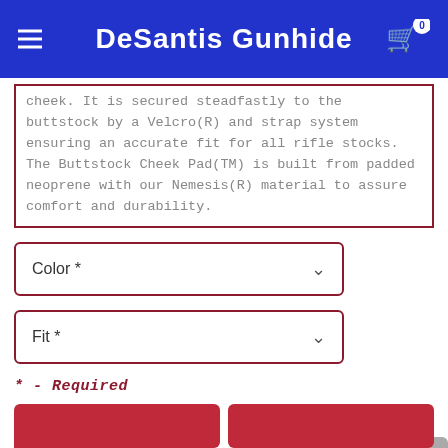DeSantis Gunhide
cheek. It is secured steadfastly to the buttstock by a Velcro(R) and strap system ensuring an accurate fit for all rifle stocks. The Buttstock Cheek Pad(TM) is built from padded neoprene with our Nemesis(R) material to assure comfort and durability.
Color *
Fit *
* - Required
Quantity